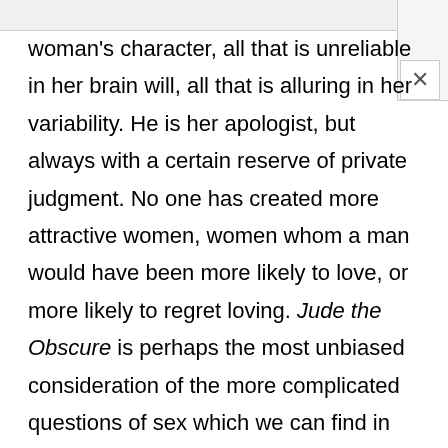woman's character, all that is unreliable in her brain will, all that is alluring in her variability. He is her apologist, but always with a certain reserve of private judgment. No one has created more attractive women, women whom a man would have been more likely to love, or more likely to regret loving. Jude the Obscure is perhaps the most unbiased consideration of the more complicated questions of sex which we can find in English fiction. At the same time, there is almost no passion in his work, neither the author nor any of his characters ever seeming able to pass beyond the state of curiosity, the most intellectually interesting of